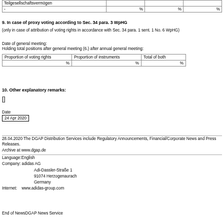| Teilgesellschaftsvermögen |  |  |  |
| --- | --- | --- | --- |
| - | % | % | % |
9. In case of proxy voting according to Sec. 34 para. 3 WpHG
(only in case of attribution of voting rights in accordance with Sec. 34 para. 1 sent. 1 No. 6 WpHG)
Date of general meeting:
Holding total positions after general meeting (6.) after annual general meeting:
| Proportion of voting rights | Proportion of instruments | Total of both |
| --- | --- | --- |
| % | % | % |
10. Other explanatory remarks:
[]
Date
24 Apr 2020
28.04.2020 The DGAP Distribution Services include Regulatory Announcements, Financial/Corporate News and Press Releases.
Archive at www.dgap.de
Language:English
Company: adidas AG
        Adi-Dassler-Straße 1
        91074 Herzogenaurach
        Germany
Internet:    www.adidas-group.com
End of NewsDGAP News Service